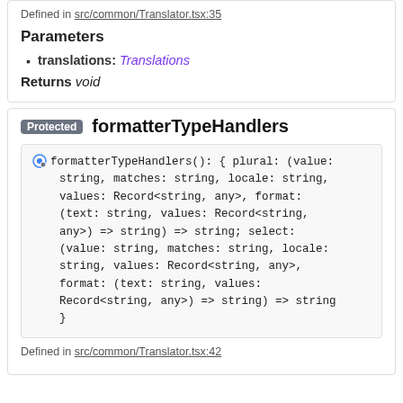Defined in src/common/Translator.tsx:35
Parameters
translations: Translations
Returns void
Protected formatterTypeHandlers
[Figure (screenshot): Code block showing formatterTypeHandlers() function signature with types including plural and select handlers returning string]
Defined in src/common/Translator.tsx:42